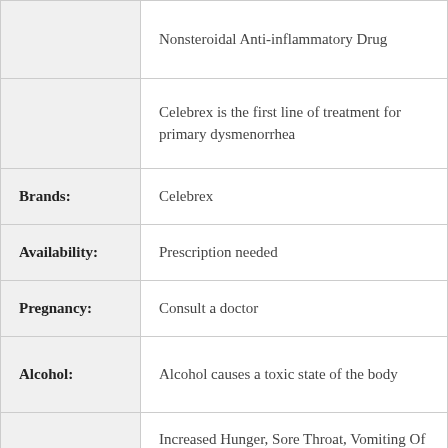|  | Nonsteroidal Anti-inflammatory Drug |
|  | Celebrex is the first line of treatment for primary dysmenorrhea |
| Brands: | Celebrex |
| Availability: | Prescription needed |
| Pregnancy: | Consult a doctor |
| Alcohol: | Alcohol causes a toxic state of the body |
| Side Effects: | Increased Hunger, Sore Throat, Vomiting Of Blood Or Material That Looks Like Coffee Grounds |